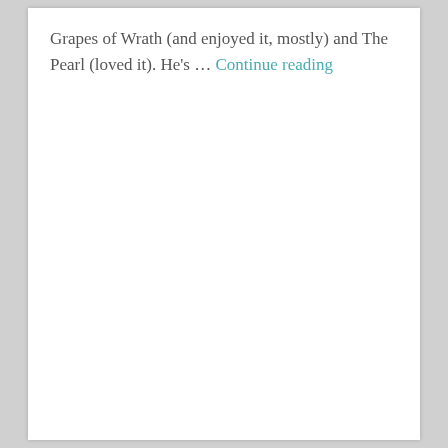Grapes of Wrath (and enjoyed it, mostly) and The Pearl (loved it). He's … Continue reading